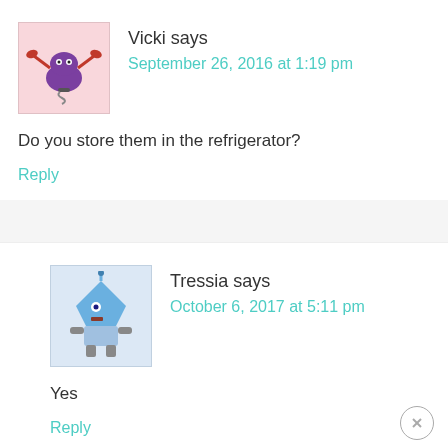[Figure (illustration): Cartoon avatar of a purple crab-like creature with red claws on a pink background]
Vicki says
September 26, 2016 at 1:19 pm
Do you store them in the refrigerator?
Reply
[Figure (illustration): Cartoon avatar of a blue robot/alien creature on a light blue background]
Tressia says
October 6, 2017 at 5:11 pm
Yes
Reply